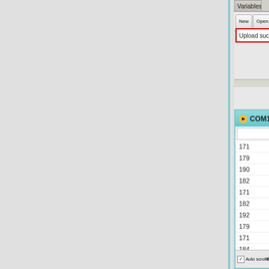[Figure (screenshot): Variables window toolbar partially visible at right edge, showing New, Open, Save, Save as, Export, Import, Manager, Compile, Upload buttons. Upload button highlighted with red border.]
Upload success!
[Figure (screenshot): COM19 serial monitor window showing a list of numeric values: 171, 179, 190, 182, 171, 182, 192, 179, 171, 184, 190, 177, 172, 187, 189, 175, 174, 188, 18. Bottom bar shows Auto scroll checkbox and Baud Rate 9600.]